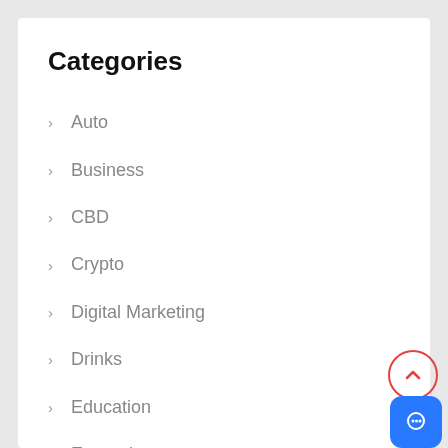Categories
Auto
Business
CBD
Crypto
Digital Marketing
Drinks
Education
Entertainment